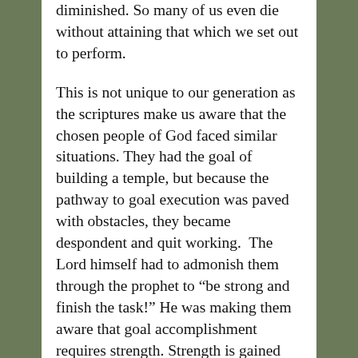diminished. So many of us even die without attaining that which we set out to perform.
This is not unique to our generation as the scriptures make us aware that the chosen people of God faced similar situations. They had the goal of building a temple, but because the pathway to goal execution was paved with obstacles, they became despondent and quit working.  The Lord himself had to admonish them through the prophet to “be strong and finish the task!” He was making them aware that goal accomplishment requires strength. Strength is gained from lifting weights. One may not be able to benchpress or lift their body’s weight initially as it would take practice. This means that they would need, to begin with, a weight that they are able to lift easily without harming themselves, and slowly adding more weight over time.